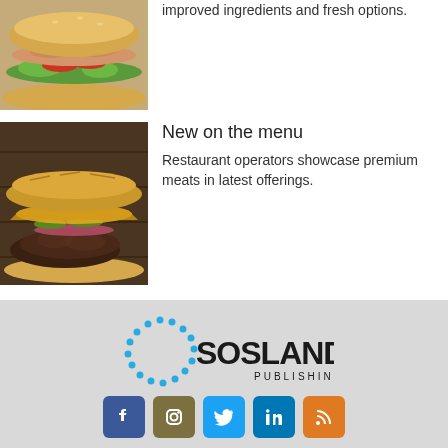[Figure (photo): Sandwich with turkey and fresh vegetables (partially visible, cropped at top)]
Company's new menu items feature improved ingredients and fresh options.
[Figure (photo): Sandwich with grilled steak, cheese, pickles and red onions on a baguette]
New on the menu
Restaurant operators showcase premium meats in latest offerings.
[Figure (logo): Sosland Publishing logo — circle of blue dots with bold SOSLAND text and PUBLISHING subtitle]
[Figure (infographic): Social media icons: Facebook, Instagram, Twitter, LinkedIn, RSS]